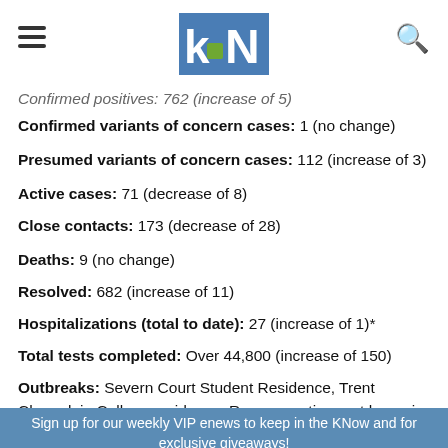kN (KawarthaNews logo)
Confirmed positives: 762 (increase of 5)
Confirmed variants of concern cases: 1 (no change)
Presumed variants of concern cases: 112 (increase of 3)
Active cases: 71 (decrease of 8)
Close contacts: 173 (decrease of 28)
Deaths: 9 (no change)
Resolved: 682 (increase of 11)
Hospitalizations (total to date): 27 (increase of 1)*
Total tests completed: Over 44,800 (increase of 150)
Outbreaks: Severn Court Student Residence, Trent Champlain College residence, Regency retirement home in Lakefield (no change)
Sign up for our weekly VIP enews to keep in the KNow and for exclusive giveaways!
Your email address..
SUBSCRIBE